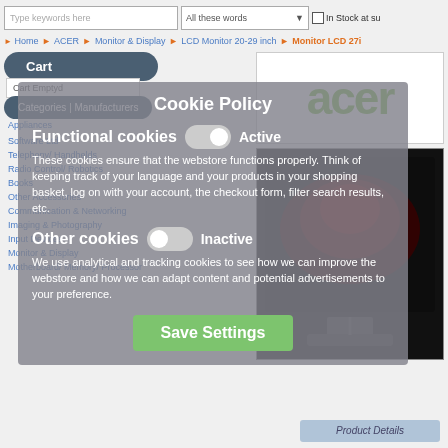[Figure (screenshot): E-commerce website screenshot showing search bar with 'Type keywords here' input, 'All these words' dropdown, and 'In Stock at su...' checkbox]
Home » ACER » Monitor & Display » LCD Monitor 20-29 inch » Monitor LCD 27i
Cart
Cart Emptyd
Categories | Manufacturers
[Figure (logo): Acer logo in green on white background]
Appliances
Software Ltd
Telephony/ Handhelds
Radio Control/ Robotics
Books
Other Accessories
Communication & Networking
Imaging & Photography
Input Devices
Monitor & Display
Motherboard/ Memory/ Processor
[Figure (screenshot): Acer monitor product image showing dark screen with red backlighting]
Cookie Policy
Functional cookies
Active
These cookies ensure that the webstore functions properly. Think of keeping track of your language and your products in your shopping basket, log on with your account, the checkout form, filter search results, etc.
Other cookies
Inactive
We use analytical and tracking cookies to see how we can improve the webstore and how we can adapt content and potential advertisements to your preference.
Save Settings
Product Details